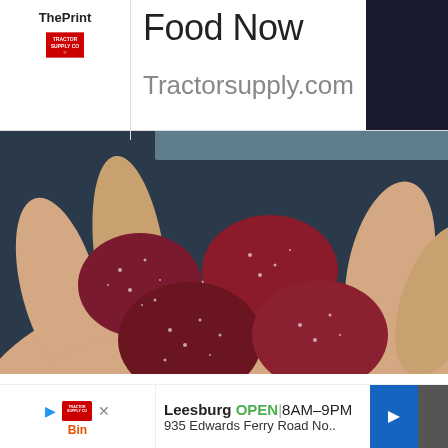ThePrint
Food Now
Tractorsupply.com
[Figure (photo): A close-up photo of several dark red sugary gummy candies resting in an open human palm.]
Banned For 84 Years; Powerful Pain Reliever Legalized In Virginia
Health Headlines | Sponsored
Advertisement
Leesburg OPEN 8AM–9PM 935 Edwards Ferry Road No..